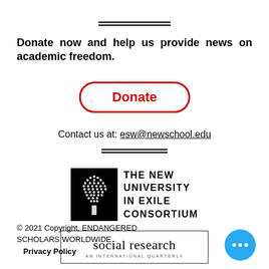Donate now and help us provide news on academic freedom.
[Figure (other): Red rounded rectangle button with text 'Donate' in red bold font]
Contact us at: esw@newschool.edu
[Figure (logo): The New University in Exile Consortium logo with black square containing a tree graphic and bold uppercase text]
[Figure (logo): Social Research: An International Quarterly logo in a bordered rectangle]
© 2021 Copyright, ENDANGERED SCHOLARS WORLDWIDE
Privacy Policy